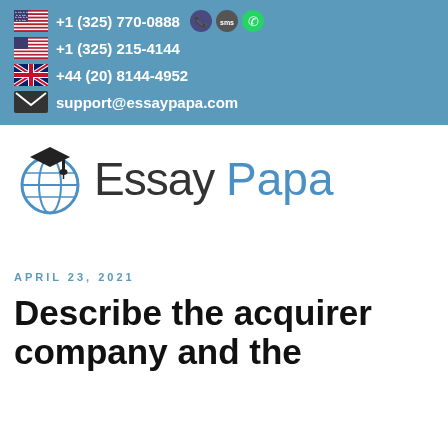+1 (325) 770-0888  +1 (325) 215-4144  +44 (20) 8144-4952  support@essaypapa.com
[Figure (logo): Essay Papa logo with graduation cap icon]
APRIL 23, 2021
Describe the acquirer company and the